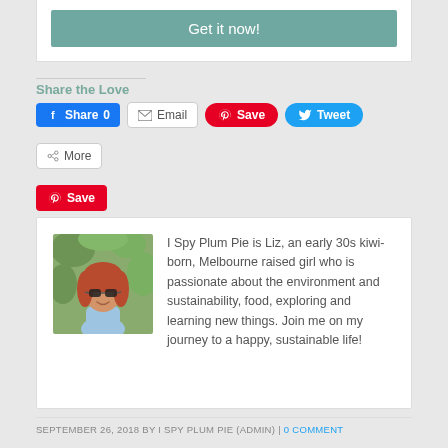Get it now!
Share the Love
Share 0  Email  Save  Tweet  More  Save
I Spy Plum Pie is Liz, an early 30s kiwi-born, Melbourne raised girl who is passionate about the environment and sustainability, food, exploring and learning new things. Join me on my journey to a happy, sustainable life!
SEPTEMBER 26, 2018 BY I SPY PLUM PIE (ADMIN) | 0 COMMENT